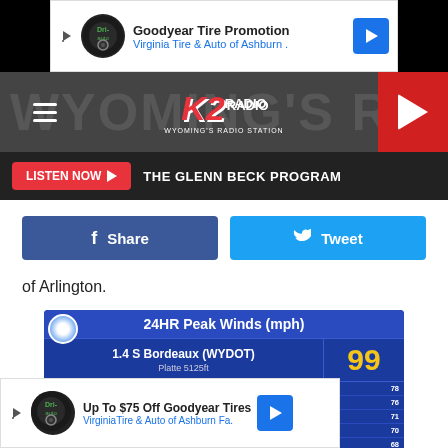[Figure (screenshot): Advertisement banner: Goodyear Tire Promotion - Virginia Tire & Auto of Ashburn]
[Figure (logo): K2 Radio - Wyoming's Radio Station logo with play button]
LISTEN NOW ▶  THE GLENN BECK PROGRAM
[Figure (screenshot): Facebook Share button and Twitter Tweet button]
of Arlington.
[Figure (screenshot): 24HR Peak Winds (mph) weather data table showing wind speeds at various Wyoming locations. Highest reading: 1.4 S Bordeaux (WYDOT) Platte 5125ft: 99 mph. Other readings: 8.4 S Sibley Peak (WYDOT) 80, Sherws 77, 7.5 S Chugwater (WYDOT) 73, 5.5 NW Arlington (WYDOT) 70, 2.4 NW Buford (WYDOT) 69, 4.8 E Buford (WYDOT) 66, 2.0 W Buford (UPR) 66, 0.6 NW Arlington (WYDOT) 78, 7.4 SW Federal (WYDOT) 76, 1.1 E Buford (WYDOT) 71, 2.5 SE Elk Mountain (WYDOT) 70, 2.9 NW Elk Mountain (WYDOT) 68, Hatrack Ridge (WYDOT) 66, Cheyenne 66]
[Figure (screenshot): Advertisement: Up To $75 Off Goodyear Tires - VirginiaTire & Auto of Ashburn Fa.]